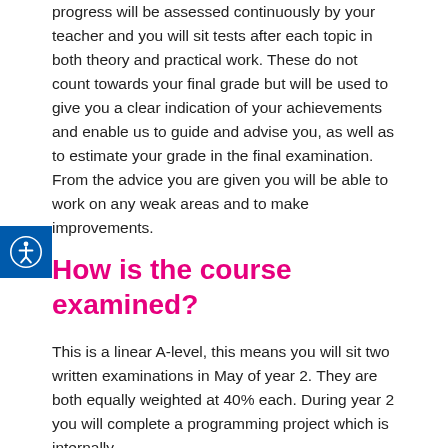progress will be assessed continuously by your teacher and you will sit tests after each topic in both theory and practical work. These do not count towards your final grade but will be used to give you a clear indication of your achievements and enable us to guide and advise you, as well as to estimate your grade in the final examination. From the advice you are given you will be able to work on any weak areas and to make improvements.
How is the course examined?
This is a linear A-level, this means you will sit two written examinations in May of year 2. They are both equally weighted at 40% each. During year 2 you will complete a programming project which is internally